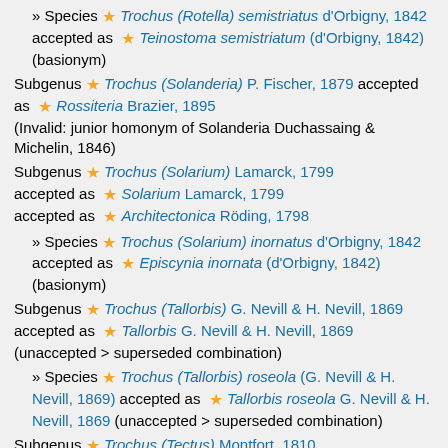» Species ★ Trochus (Rotella) semistriatus d'Orbigny, 1842 accepted as ★ Teinostoma semistriatum (d'Orbigny, 1842) (basionym)
Subgenus ★ Trochus (Solanderia) P. Fischer, 1879 accepted as ★ Rossiteria Brazier, 1895 (Invalid: junior homonym of Solanderia Duchassaing & Michelin, 1846)
Subgenus ★ Trochus (Solarium) Lamarck, 1799 accepted as ★ Solarium Lamarck, 1799 accepted as ★ Architectonica Röding, 1798
» Species ★ Trochus (Solarium) inornatus d'Orbigny, 1842 accepted as ★ Episcynia inornata (d'Orbigny, 1842) (basionym)
Subgenus ★ Trochus (Tallorbis) G. Nevill & H. Nevill, 1869 accepted as ★ Tallorbis G. Nevill & H. Nevill, 1869 (unaccepted > superseded combination)
» Species ★ Trochus (Tallorbis) roseola (G. Nevill & H. Nevill, 1869) accepted as ★ Tallorbis roseola G. Nevill & H. Nevill, 1869 (unaccepted > superseded combination)
Subgenus ★ Trochus (Tectus) Montfort, 1810 accepted as ★ Tectus Montfort, 1810